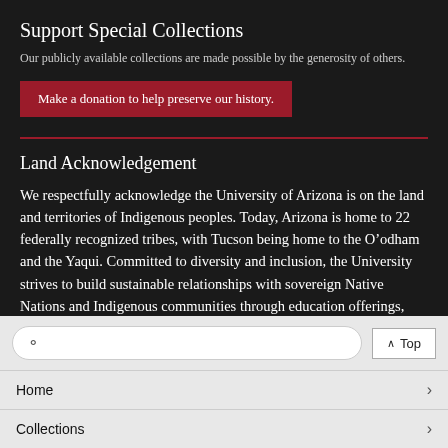Support Special Collections
Our publicly available collections are made possible by the generosity of others.
Make a donation to help preserve our history.
Land Acknowledgement
We respectfully acknowledge the University of Arizona is on the land and territories of Indigenous peoples. Today, Arizona is home to 22 federally recognized tribes, with Tucson being home to the O’odham and the Yaqui. Committed to diversity and inclusion, the University strives to build sustainable relationships with sovereign Native Nations and Indigenous communities through education offerings, partnerships, and community service.
Home
Collections